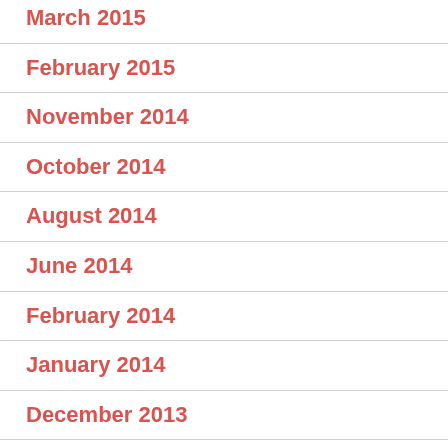March 2015
February 2015
November 2014
October 2014
August 2014
June 2014
February 2014
January 2014
December 2013
October 2013